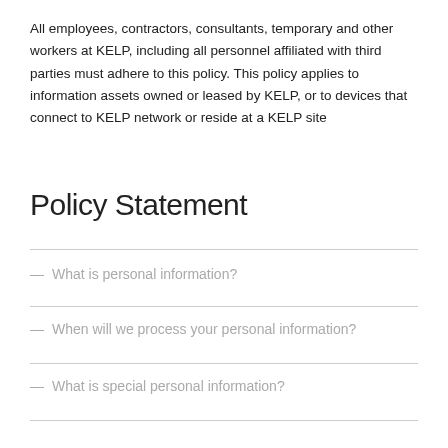All employees, contractors, consultants, temporary and other workers at KELP, including all personnel affiliated with third parties must adhere to this policy. This policy applies to information assets owned or leased by KELP, or to devices that connect to KELP network or reside at a KELP site
Policy Statement
— What is personal information?
— When will we process your personal information?
— What is special personal information?